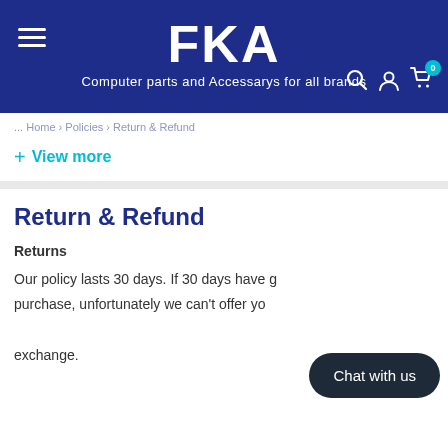[Figure (logo): FKA logo in white text on dark blue background with hamburger menu icon, tagline 'Computer parts and Accessarys for all brands', and header icons (search, account, cart with 0 badge)]
Computer parts and Accessarys for all brands
View more
Return & Refund
Returns
Our policy lasts 30 days. If 30 days have gone by since your purchase, unfortunately we can't offer you a refund or exchange.